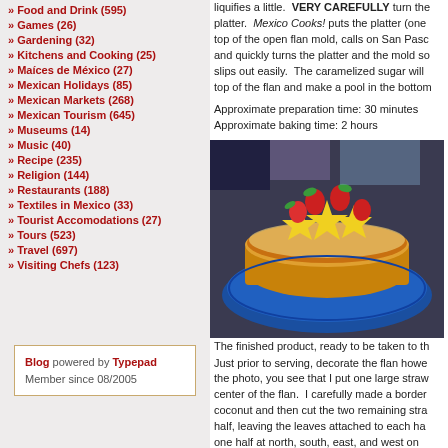» Food and Drink (595)
» Games (26)
» Gardening (32)
» Kitchens and Cooking (25)
» Maíces de México (27)
» Mexican Holidays (85)
» Mexican Markets (268)
» Mexican Tourism (645)
» Museums (14)
» Music (40)
» Recipe (235)
» Religion (144)
» Restaurants (188)
» Textiles in Mexico (33)
» Tourist Accomodations (27)
» Tours (523)
» Travel (697)
» Visiting Chefs (123)
Blog powered by Typepad
Member since 08/2005
liquifies a little. VERY CAREFULLY turn the... platter. Mexico Cooks! puts the platter (one top of the open flan mold, calls on San Pasc... and quickly turns the platter and the mold so slips out easily. The caramelized sugar will top of the flan and make a pool in the bottom...
Approximate preparation time: 30 minutes
Approximate baking time: 2 hours
[Figure (photo): A decorated flan on a blue decorative plate, topped with star fruit slices and strawberries with mint leaves, ready to be served.]
The finished product, ready to be taken to th...
Just prior to serving, decorate the flan howe the photo, you see that I put one large straw center of the flan. I carefully made a border coconut and then cut the two remaining stra half, leaving the leaves attached to each ha one half at north, south, east, and west on...